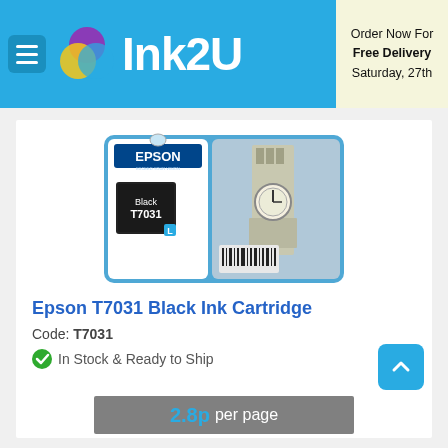Ink2U — Order Now For Free Delivery Saturday, 27th
[Figure (photo): Epson T7031 Black Ink Cartridge product box showing Big Ben tower clock on the packaging]
Epson T7031 Black Ink Cartridge
Code: T7031
In Stock & Ready to Ship
2.8p per page